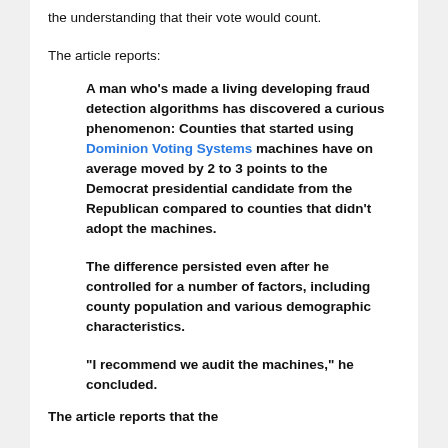the understanding that their vote would count.
The article reports:
A man who’s made a living developing fraud detection algorithms has discovered a curious phenomenon: Counties that started using Dominion Voting Systems machines have on average moved by 2 to 3 points to the Democrat presidential candidate from the Republican compared to counties that didn’t adopt the machines.
The difference persisted even after he controlled for a number of factors, including county population and various demographic characteristics.
“I recommend we audit the machines,” he concluded.
The article reports that the